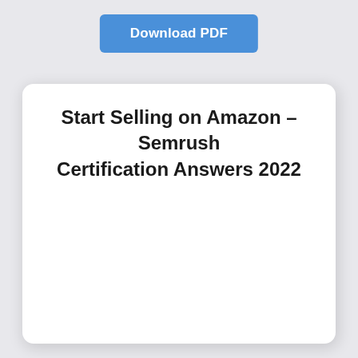[Figure (other): Blue 'Download PDF' button]
Start Selling on Amazon – Semrush Certification Answers 2022